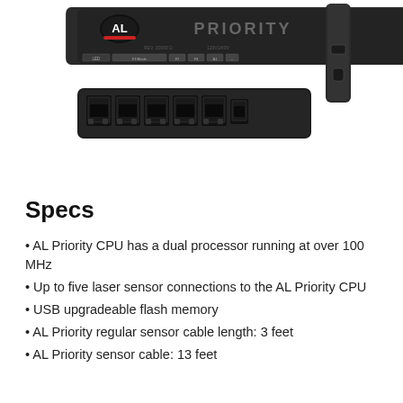[Figure (photo): Three views of the AL Priority CPU device: top view showing the front panel with AL logo and PRIORITY branding and LED/port indicators, bottom view showing the back panel with multiple RJ45 ethernet ports, and side view showing the device edge with USB port.]
Specs
AL Priority CPU has a dual processor running at over 100 MHz
Up to five laser sensor connections to the AL Priority CPU
USB upgradeable flash memory
AL Priority regular sensor cable length: 3 feet
AL Priority sensor cable: 13 feet